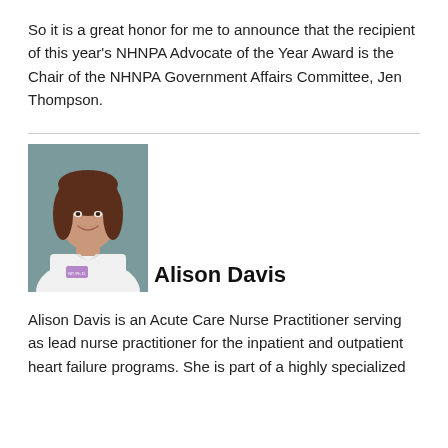So it is a great honor for me to announce that the recipient of this year's NHNPA Advocate of the Year Award is the Chair of the NHNPA Government Affairs Committee, Jen Thompson.
[Figure (photo): Professional headshot of Alison Davis, a woman with brown hair wearing a white lab coat, smiling, against a muted teal/grey background.]
Alison Davis
Alison Davis is an Acute Care Nurse Practitioner serving as lead nurse practitioner for the inpatient and outpatient heart failure programs. She is part of a highly specialized